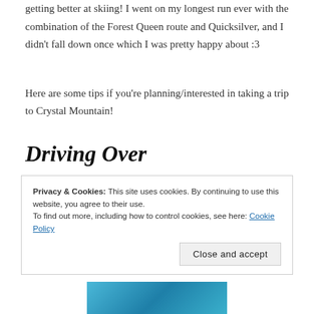getting better at skiing! I went on my longest run ever with the combination of the Forest Queen route and Quicksilver, and I didn't fall down once which I was pretty happy about :3
Here are some tips if you're planning/interested in taking a trip to Crystal Mountain!
Driving Over
The drive over was really nice! Initially we were worried there might be too much snow on the road, which would've been a problem for us since
Privacy & Cookies: This site uses cookies. By continuing to use this website, you agree to their use.
To find out more, including how to control cookies, see here: Cookie Policy
Close and accept